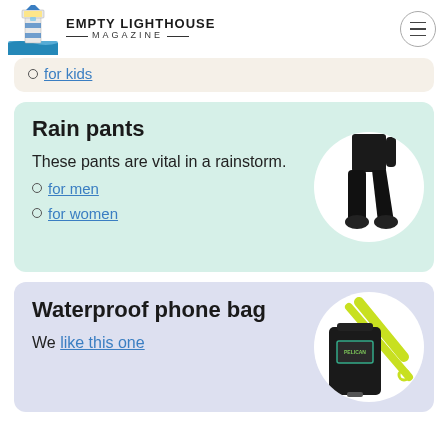EMPTY LIGHTHOUSE MAGAZINE
for kids
Rain pants
These pants are vital in a rainstorm.
for men
for women
[Figure (photo): Person wearing black rain pants]
Waterproof phone bag
We like this one
[Figure (photo): Waterproof phone bag with yellow lanyard]